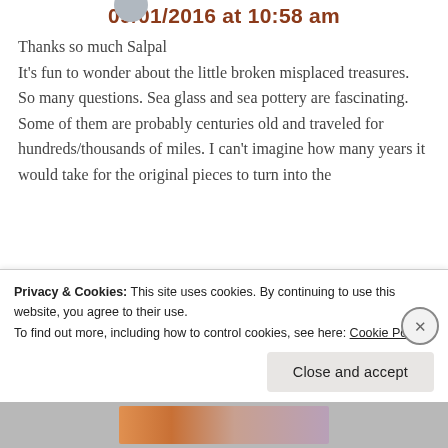09/01/2016 at 10:58 am
Thanks so much Salpal
It's fun to wonder about the little broken misplaced treasures. So many questions. Sea glass and sea pottery are fascinating. Some of them are probably centuries old and traveled for hundreds/thousands of miles. I can't imagine how many years it would take for the original pieces to turn into the
Privacy & Cookies: This site uses cookies. By continuing to use this website, you agree to their use.
To find out more, including how to control cookies, see here: Cookie Policy.
Close and accept